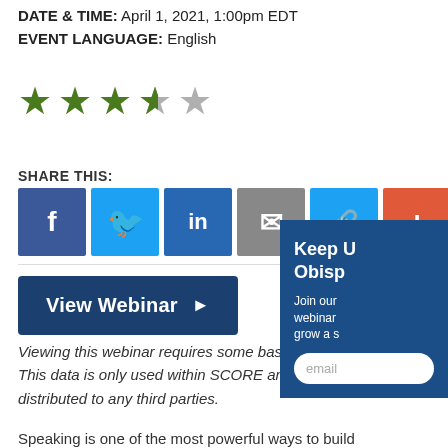DATE & TIME: April 1, 2021, 1:00pm EDT
EVENT LANGUAGE: English
[Figure (other): 4 out of 5 stars rating — 4 green filled stars and 1 gray empty star]
SHARE THIS:
[Figure (other): Social share buttons: Facebook, Twitter, LinkedIn, Email, Link, Plus]
View Webinar ▶
Viewing this webinar requires some basic info... This data is only used within SCORE and will not be distributed to any third parties.
Speaking is one of the most powerful ways to build...
Keep U Obisp
Join our webinar grow a s
email